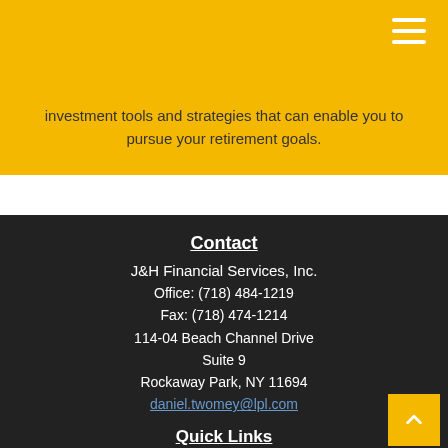investment tools and strategies that can enable you to pursue your retirement goals.
Contact
J&H Financial Services, Inc.
Office: (718) 484-1219
Fax: (718) 474-1214
114-04 Beach Channel Drive
Suite 9
Rockaway Park, NY 11694
daniel.twomey@lpl.com
Quick Links
Retirement
Investment